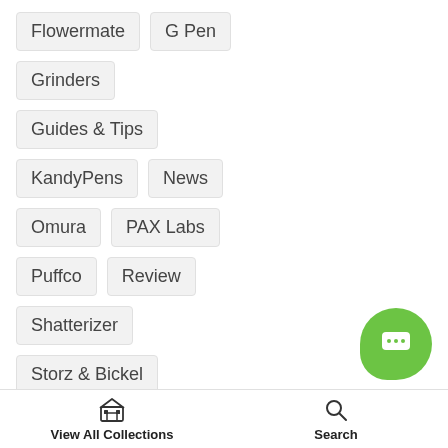Flowermate
G Pen
Grinders
Guides & Tips
KandyPens
News
Omura
PAX Labs
Puffco
Review
Shatterizer
Storz & Bickel
Unboxing
View All Collections   Search